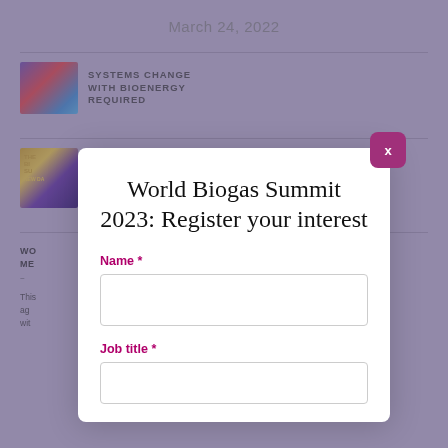March 24, 2022
[Figure (screenshot): Background webpage showing articles about bioenergy and biogas, partially obscured by a modal dialog overlay]
World Biogas Summit 2023: Register your interest
Name *
Job title *